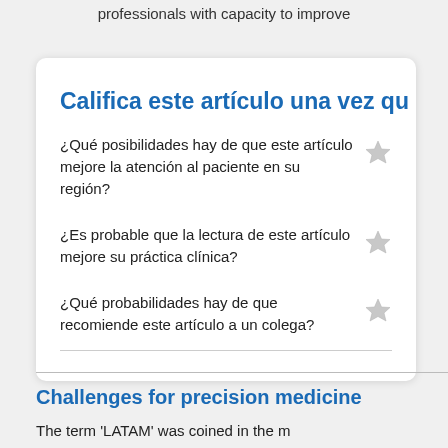professionals with capacity to improve
Califica este artículo una vez qu
¿Qué posibilidades hay de que este artículo mejore la atención al paciente en su región?
¿Es probable que la lectura de este artículo mejore su práctica clínica?
¿Qué probabilidades hay de que recomiende este artículo a un colega?
Challenges for precision medicine
The term 'LATAM' was coined in the m